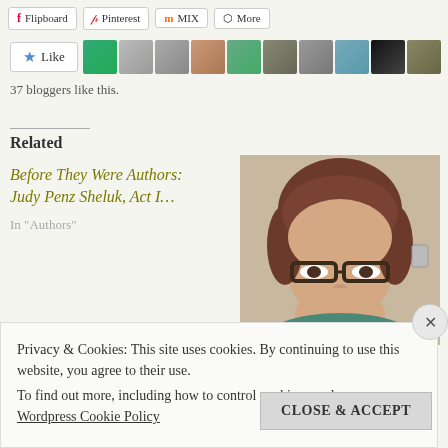[Figure (other): Share buttons row: Flipboard, Pinterest, Mix, More]
[Figure (other): Like button with star icon and 10 blogger avatar thumbnails]
37 bloggers like this.
Related
Before They Were Authors: Judy Penz Sheluk, Act I…
In "Authors"
[Figure (photo): Photo of a woman with short brown hair wearing dark-rimmed glasses, smiling slightly, in a teal patterned top]
Privacy & Cookies: This site uses cookies. By continuing to use this website, you agree to their use.
To find out more, including how to control cookies, see here:
Wordpress Cookie Policy
CLOSE & ACCEPT